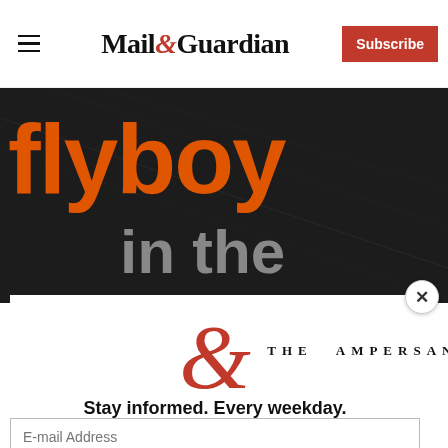Mail&Guardian | Subscribe
[Figure (photo): Book cover showing 'flyboy in the' text in orange and grey on dark background]
[Figure (logo): The Ampersand newsletter logo — large red ampersand with 'THE AMPERSAND' text]
Stay informed. Every weekday.
E-mail Address
Signup now